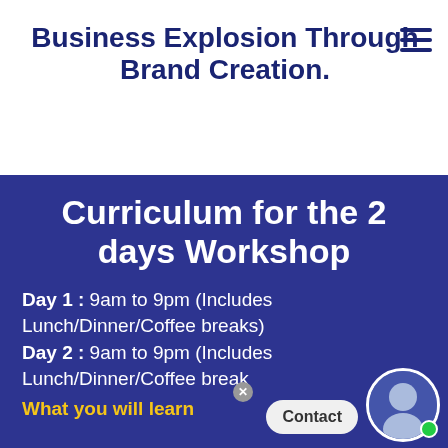Business Explosion Through Brand Creation.
Curriculum for the 2 days Workshop
Day 1: 9am to 9pm (Includes Lunch/Dinner/Coffee breaks)
Day 2 : 9am to 9pm (Includes Lunch/Dinner/Coffee breaks)
What you will learn